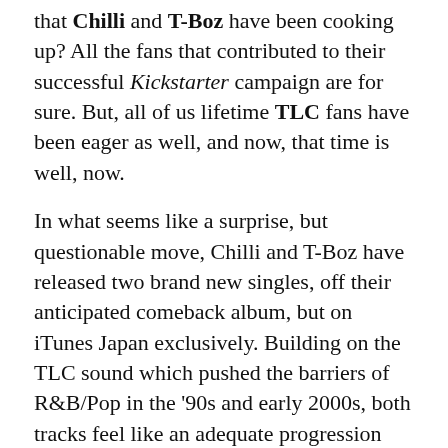that Chilli and T-Boz have been cooking up? All the fans that contributed to their successful Kickstarter campaign are for sure. But, all of us lifetime TLC fans have been eager as well, and now, that time is well, now.
In what seems like a surprise, but questionable move, Chilli and T-Boz have released two brand new singles, off their anticipated comeback album, but on iTunes Japan exclusively. Building on the TLC sound which pushed the barriers of R&B/Pop in the '90s and early 2000s, both tracks feel like an adequate progression into a modern version.
The first song, "Joy Ride," is a lively, breezy anthem, meant to feel good and celebrate all the fun times the ladies have had together. "I remember just like it was yesterday / I was just dreaming, praying my whole life would change / You, all the support you gave me, made me who I am today," they sing.